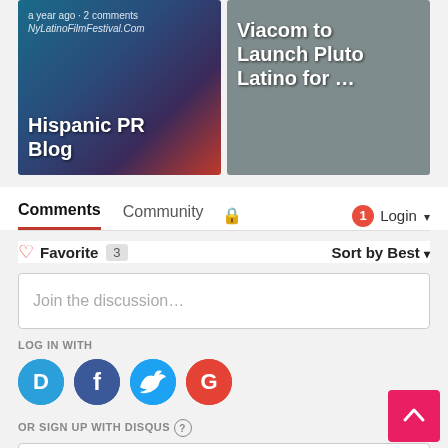[Figure (screenshot): Two article preview cards. Left card: dark blue/purple/red gradient background with text 'a year ago · 2 comments', 'NyLatinoFilmFestival.Com', 'Hispanic PR Blog'. Right card: grey background with text 'Viacom to Launch Pluto Latino for ...']
Comments   Community   🔒   1   Login ▾
♡ Favorite   3   Sort by Best ▾
Join the discussion…
LOG IN WITH
[Figure (infographic): Four social login icons in circles: D (Disqus, blue), F (Facebook, dark blue), Twitter bird (light blue), G (Google, red)]
OR SIGN UP WITH DISQUS ?
Name
↑